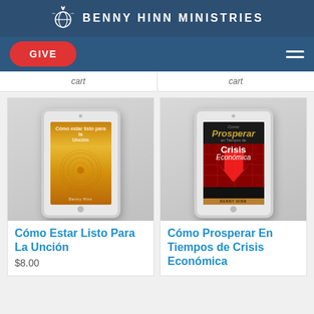BENNY HINN MINISTRIES
GIVE
[Figure (illustration): Two partially visible 'Add to Cart' buttons from product cards above the fold]
[Figure (illustration): Tablet device mockup showing book cover 'Cómo Estar Listo Para La Unción' with gold ripple water design by Benny Hinn]
Cómo Estar Listo Para La Unción
$8.00
[Figure (illustration): Tablet device mockup showing book cover 'Cómo Prosperar En Tiempos de Crisis Económica' by Benny Hinn with dark background and red arrow]
Cómo Prosperar En Tiempos de Crisis Económica